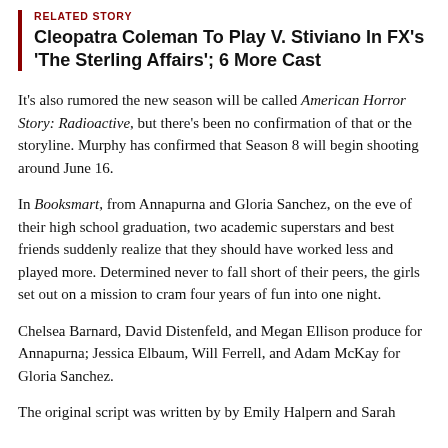RELATED STORY
Cleopatra Coleman To Play V. Stiviano In FX's 'The Sterling Affairs'; 6 More Cast
It's also rumored the new season will be called American Horror Story: Radioactive, but there's been no confirmation of that or the storyline. Murphy has confirmed that Season 8 will begin shooting around June 16.
In Booksmart, from Annapurna and Gloria Sanchez, on the eve of their high school graduation, two academic superstars and best friends suddenly realize that they should have worked less and played more. Determined never to fall short of their peers, the girls set out on a mission to cram four years of fun into one night.
Chelsea Barnard, David Distenfeld, and Megan Ellison produce for Annapurna; Jessica Elbaum, Will Ferrell, and Adam McKay for Gloria Sanchez.
The original script was written by by Emily Halpern and Sarah